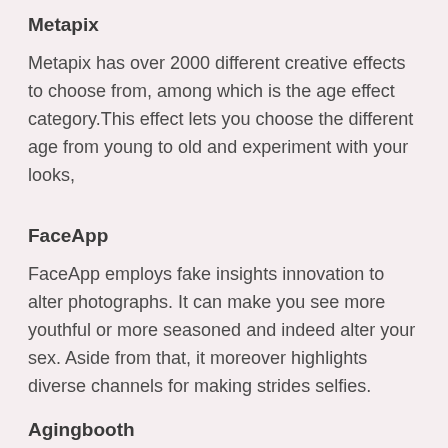Metapix
Metapix has over 2000 different creative effects to choose from, among which is the age effect category.This effect lets you choose the different age from young to old and experiment with your looks,
FaceApp
FaceApp employs fake insights innovation to alter photographs. It can make you see more youthful or more seasoned and indeed alter your sex. Aside from that, it moreover highlights diverse channels for making strides selfies.
Agingbooth